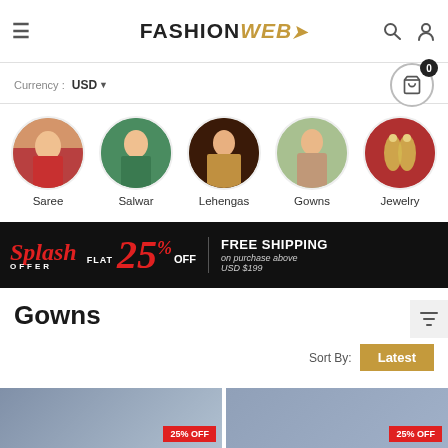FASHIONWEB (logo with stylized golden W)
Currency : USD
[Figure (infographic): Five circular category thumbnails: Saree (woman in red saree), Salwar (woman in green salwar), Lehengas (woman in lehenga with dupatta), Gowns (woman in gown), Jewelry (gold earrings on red fabric)]
[Figure (infographic): Promotional banner: black background. 'Splash OFFER' in red italic script, 'FLAT 25% OFF' with large red 25%, 'FREE SHIPPING on purchase above USD $199' in white]
Gowns
Sort By: Latest
[Figure (photo): Two product thumbnail images side by side, each showing a woman in a gown, each with a '25% OFF' red badge]